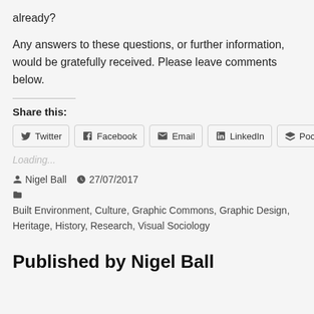already?
Any answers to these questions, or further information, would be gratefully received. Please leave comments below.
Share this:
Twitter  Facebook  Email  LinkedIn  Pocket
Loading...
Nigel Ball  27/07/2017
Built Environment, Culture, Graphic Commons, Graphic Design, Heritage, History, Research, Visual Sociology
Published by Nigel Ball